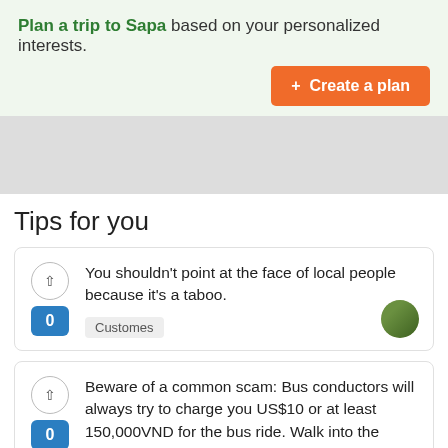Plan a trip to Sapa based on your personalized interests.
+ Create a plan
[Figure (other): Gray banner/advertisement area]
Tips for you
You shouldn't point at the face of local people because it's a taboo.
Customes
Beware of a common scam: Bus conductors will always try to charge you US$10 or at least 150,000VND for the bus ride. Walk into the station, 300m south-west of the train station down Phan Đình Phùng, where the price is written on the board, there will be no
↑ Scroll to top